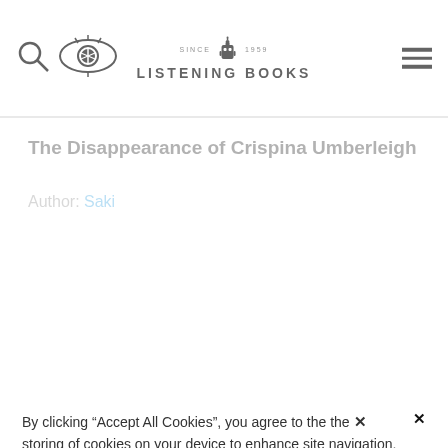LISTENING BOOKS (since 1959)
The Disappearance of Crispina Umberleigh
Author: Saki
By clicking “Accept All Cookies”, you agree to the storing of cookies on your device to enhance site navigation, analyze site usage, and assist in our marketing efforts.
Accept All Cookies
Cookies Settings